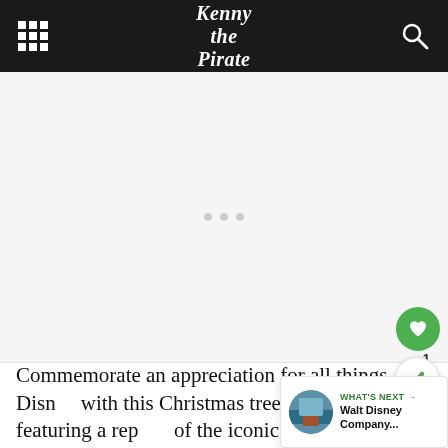Kenny the Pirate
[Figure (other): Advertisement placeholder area with three gray dots centered]
Commemorate an appreciation for all things Disney with this Christmas tree ornament featuring a replica of the iconic “Storytellers” statue. The design features a young Walt Disney and Mickey Mouse with their luggage fresh off the train from